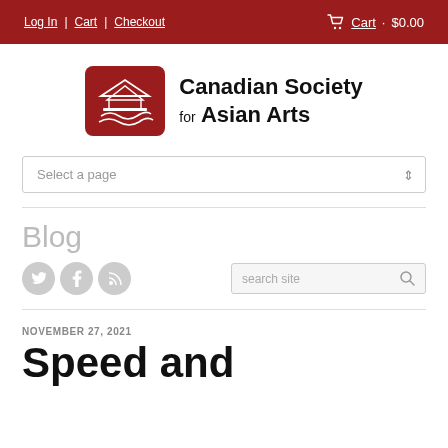Log In | Cart | Checkout   Cart · $0.00
[Figure (logo): Canadian Society for Asian Arts logo: red rounded square with white line art of a bridge and waves]
Canadian Society for Asian Arts
Select a page
Blog
search site
NOVEMBER 27, 2021
Speed and